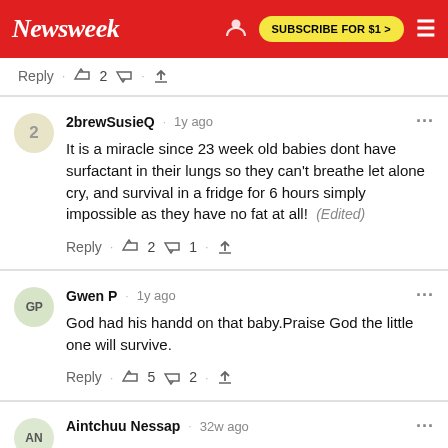Newsweek | SUBSCRIBE FOR $1 >
Reply · 👍 2 👎 · ⬆
2brewSusieQ · 1y ago
It is a miracle since 23 week old babies dont have surfactant in their lungs so they can't breathe let alone cry, and survival in a fridge for 6 hours simply impossible as they have no fat at all! (Edited)
Reply · 👍 2 👎 1 · ⬆
Gwen P · 1y ago
God had his handd on that baby.Praise God the little one will survive.
Reply · 👍 5 👎 2 · ⬆
Aintchuu Nessap · 32w ago